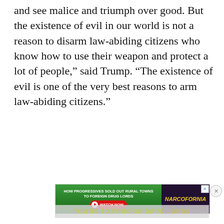and see malice and triumph over good. But the existence of evil in our world is not a reason to disarm law-abiding citizens who know how to use their weapon and protect a lot of people," said Trump. "The existence of evil is one of the very best reasons to arm law-abiding citizens."
[Figure (photo): Advertisement image showing sunglasses close-up with 'NARCOFORNIA' text overlay on a dark red/maroon background. Below is a second ad banner for Narcofornia with 'HOW PROGRESSIVES SOLD OUT RURAL TOWNS TO FOREIGN DRUG LORDS' text and a Watch Now button.]